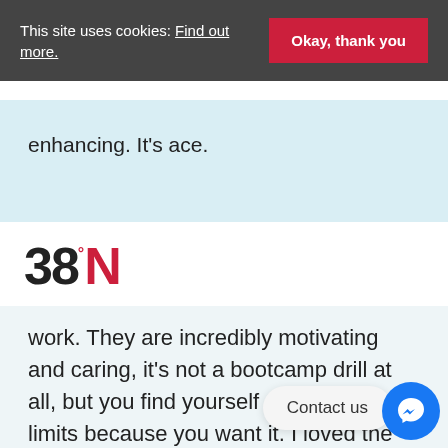This site uses cookies: Find out more. | Okay, thank you
enhancing. It's ace.
[Figure (logo): 38°N logo with red N and degree symbol]
Make an Enquiry
work. They are incredibly motivating and caring, it's not a bootcamp drill at all, but you find yourself pushing to your limits because you want it. I loved the h[omework], nutrition and goal setting workshops,
Contact us